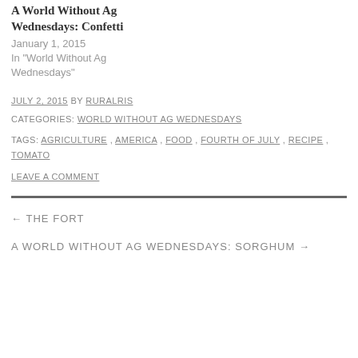A World Without Ag Wednesdays: Confetti
January 1, 2015
In "World Without Ag Wednesdays"
JULY 2, 2015 BY RURALRIS
CATEGORIES: WORLD WITHOUT AG WEDNESDAYS
TAGS: AGRICULTURE, AMERICA, FOOD, FOURTH OF JULY, RECIPE, TOMATO
LEAVE A COMMENT
← THE FORT
A WORLD WITHOUT AG WEDNESDAYS: SORGHUM →